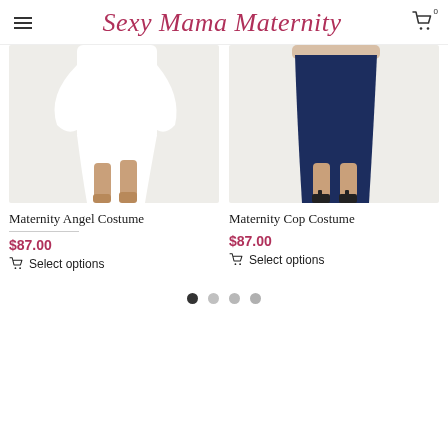Sexy Mama Maternity
[Figure (photo): Maternity model wearing white bodycon dress with long sleeves, cropped from waist down, on light grey background]
Maternity Angel Costume
$87.00
Select options
[Figure (photo): Maternity model wearing navy blue bodycon pencil skirt, cropped from waist down, on light grey background]
Maternity Cop Costume
$87.00
Select options